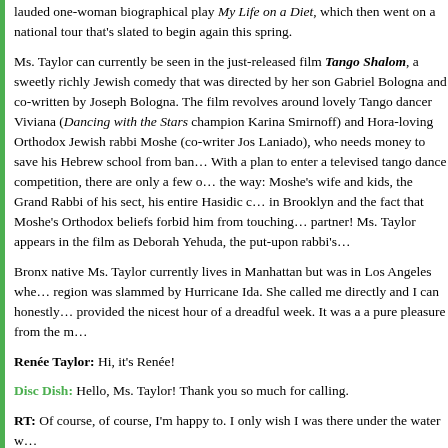lauded one-woman biographical play My Life on a Diet, which then went on a national tour that's slated to begin again this spring.
Ms. Taylor can currently be seen in the just-released film Tango Shalom, a sweetly richly Jewish comedy that was directed by her son Gabriel Bologna and co-written by Joseph Bologna. The film revolves around lovely Tango dancer Viviana (Dancing with the Stars champion Karina Smirnoff) and Hora-loving Orthodox Jewish rabbi Moshe (co-writer Jos Laniado), who needs money to save his Hebrew school from bankruptcy. With a plan to enter a televised tango dance competition, there are only a few obstacles in the way: Moshe's wife and kids, the Grand Rabbi of his sect, his entire Hasidic community in Brooklyn and the fact that Moshe's Orthodox beliefs forbid him from touching his dance partner! Ms. Taylor appears in the film as Deborah Yehuda, the put-upon rabbi's wife.
Bronx native Ms. Taylor currently lives in Manhattan but was in Los Angeles when the region was slammed by Hurricane Ida. She called me directly and I can honestly say she provided the nicest hour of a dreadful week. It was a a pure pleasure from the moment
Renée Taylor: Hi, it's Renée!
Disc Dish: Hello, Ms. Taylor! Thank you so much for calling.
RT: Of course, of course, I'm happy to. I only wish I was there under the water w
DD: It's a real mess here—some very tough stuff. But we'll get through it. May I
RT: Unless you want to call me sweetheart.